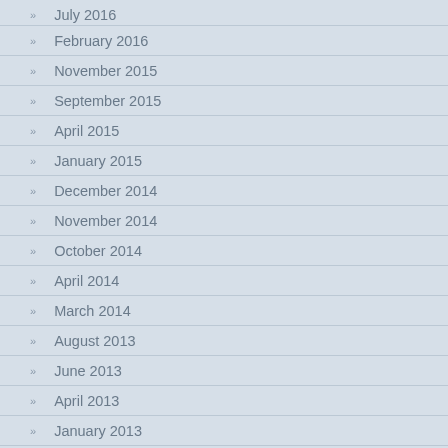July 2016
February 2016
November 2015
September 2015
April 2015
January 2015
December 2014
November 2014
October 2014
April 2014
March 2014
August 2013
June 2013
April 2013
January 2013
November 2012
September 2012